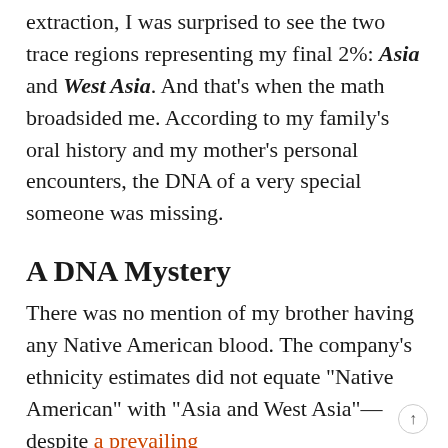extraction, I was surprised to see the two trace regions representing my final 2%: Asia and West Asia. And that’s when the math broadsided me. According to my family’s oral history and my mother’s personal encounters, the DNA of a very special someone was missing.
A DNA Mystery
There was no mention of my brother having any Native American blood. The company’s ethnicity estimates did not equate “Native American” with “Asia and West Asia”—despite a prevailing theory that ancestral Native Americans…